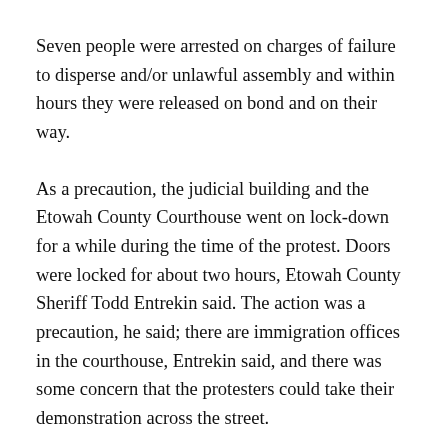Seven people were arrested on charges of failure to disperse and/or unlawful assembly and within hours they were released on bond and on their way.
As a precaution, the judicial building and the Etowah County Courthouse went on lock-down for a while during the time of the protest. Doors were locked for about two hours, Etowah County Sheriff Todd Entrekin said. The action was a precaution, he said; there are immigration offices in the courthouse, Entrekin said, and there was some concern that the protesters could take their demonstration across the street.
At the Etowah County Commission's work session on Tuesday, March 25...